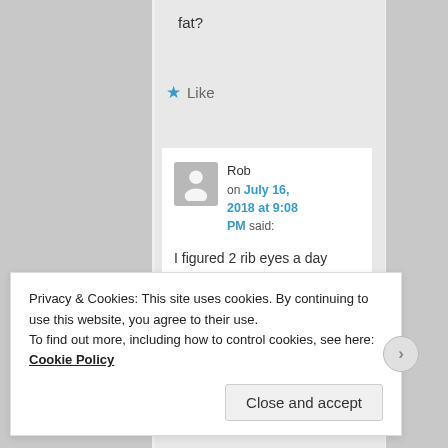fat?
★ Like
Rob on July 16, 2018 at 9:08 PM said:
I figured 2 rib eyes a day cooked in butter is more than
Privacy & Cookies: This site uses cookies. By continuing to use this website, you agree to their use.
To find out more, including how to control cookies, see here: Cookie Policy
Close and accept